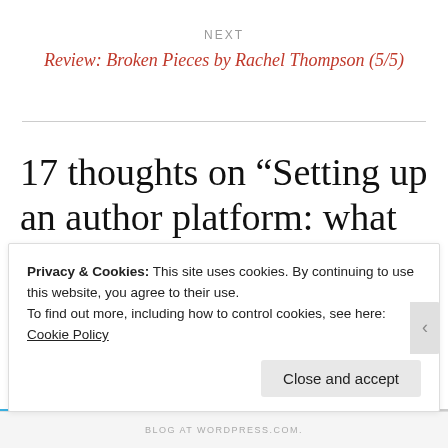NEXT
Review: Broken Pieces by Rachel Thompson (5/5)
17 thoughts on “Setting up an author platform: what I’ve learned so far”
Privacy & Cookies: This site uses cookies. By continuing to use this website, you agree to their use.
To find out more, including how to control cookies, see here:
Cookie Policy
Close and accept